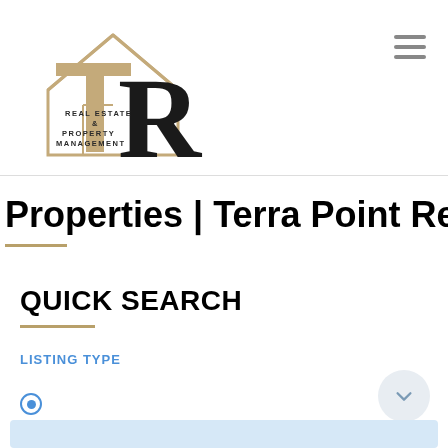[Figure (logo): Terra Point Realty logo: house outline with TR monogram and text 'REAL ESTATE & PROPERTY MANAGEMENT']
Properties | Terra Point Realty
QUICK SEARCH
LISTING TYPE